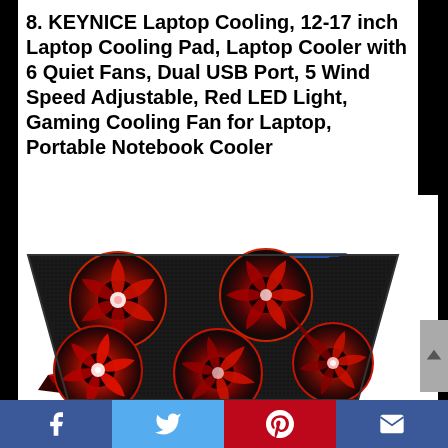8. KEYNICE Laptop Cooling, 12-17 inch Laptop Cooling Pad, Laptop Cooler with 6 Quiet Fans, Dual USB Port, 5 Wind Speed Adjustable, Red LED Light, Gaming Cooling Fan for Laptop, Portable Notebook Cooler
[Figure (photo): KEYNICE laptop cooling pad with 6 red LED fans arranged in a 2x3 grid on a black mesh surface, angled perspective view, with blue accent on top edge]
Social sharing bar: Facebook, Twitter, Pinterest, Email